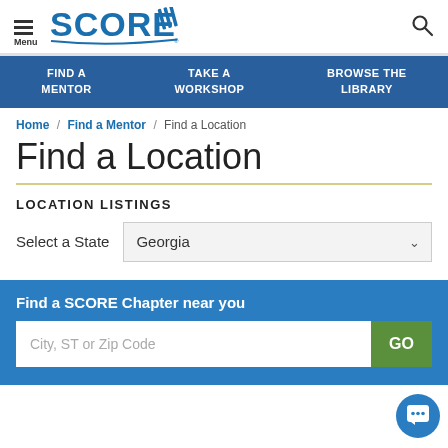SCORE — Menu / Find a Mentor / Take a Workshop / Browse the Library
Home / Find a Mentor / Find a Location
Find a Location
LOCATION LISTINGS
Select a State: Georgia
Find a SCORE Chapter near you
City, ST or Zip Code